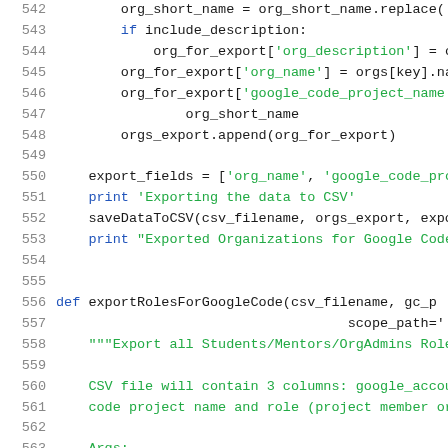[Figure (screenshot): Source code viewer showing Python code lines 542-563. Lines have gray line numbers on the left. Code uses black for regular identifiers/operators and blue/green for keywords and string literals.]